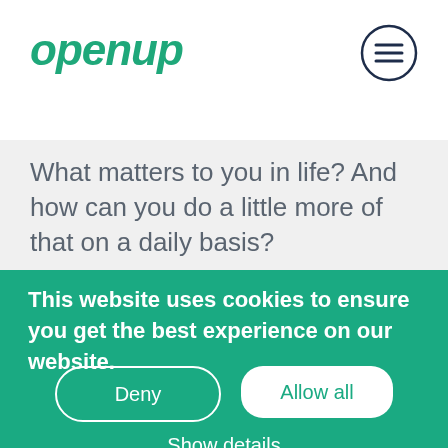openup
What matters to you in life? And how can you do a little more of that on a daily basis?
This website uses cookies to ensure you get the best experience on our website.
Deny
Allow all
Show details